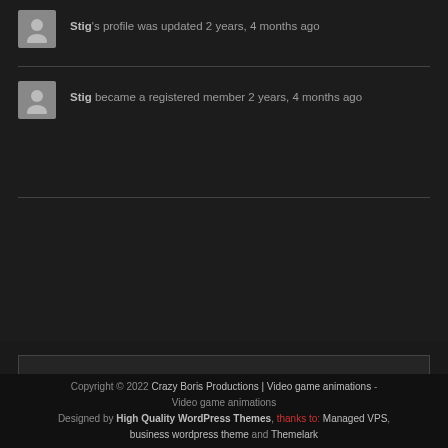Stig's profile was updated 2 years, 4 months ago
Stig became a registered member 2 years, 4 months ago
WHO'S ONLINE
There are no users currently online
Copyright © 2022 Crazy Boris Productions | Video game animations - Video game animations Designed by High Quality WordPress Themes, thanks to: Managed VPS, business wordpress theme and Themelark